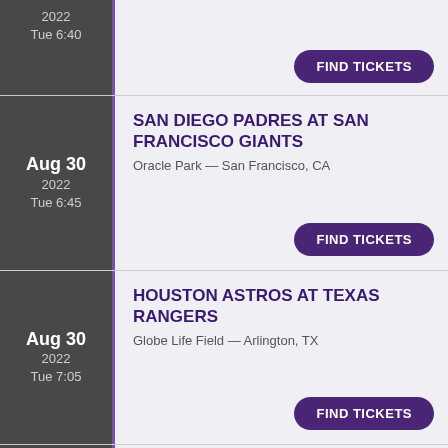Tue 6:40 — Target Field — Minneapolis, MN — FIND TICKETS (partial row at top)
Aug 30 2022 Tue 6:45 — SAN DIEGO PADRES AT SAN FRANCISCO GIANTS — Oracle Park — San Francisco, CA — FIND TICKETS
Aug 30 2022 Tue 7:05 — HOUSTON ASTROS AT TEXAS RANGERS — Globe Life Field — Arlington, TX — FIND TICKETS
OAKLAND ATHLETICS AT WASHINGTON NATIONALS (partial, cut off)